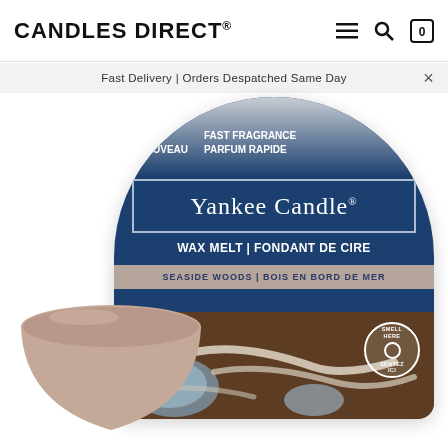CANDLES DIRECT®
Fast Delivery | Orders Despatched Same Day
[Figure (photo): Yankee Candle Wax Melt product in Seaside Woods / Bois en Bord de Mer scent. Shows the circular package card with dark blue top half labelled NEW NOUVEAU, FAST FRAGRANCE PARFUM RAPIDE, Yankee Candle brand name, WAX MELT | FONDANT DE CIRE, SEASIDE WOODS | BOIS EN BORD DE MER, a SMELL HERE / SENTEZ ICI circle, a barcode, and company address information. A taupe/beige wax melt bowl sits in front at bottom left.]